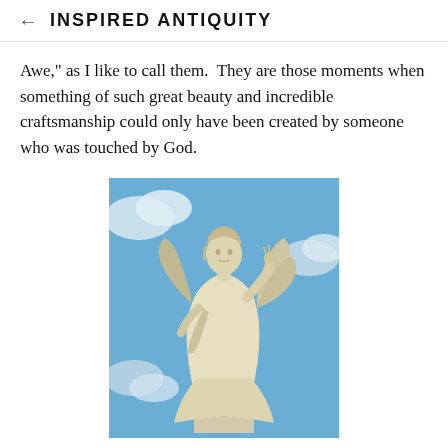← INSPIRED ANTIQUITY
Awe," as I like to call them.  They are those moments when something of such great beauty and incredible craftsmanship could only have been created by someone who was touched by God.
[Figure (photo): A white marble angel statue with wings, draped robes, and one arm raised, photographed against a blue sky with clouds.]